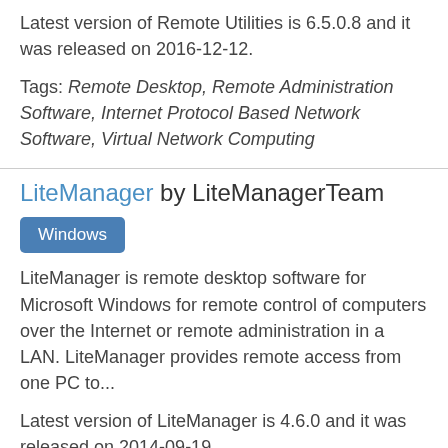Latest version of Remote Utilities is 6.5.0.8 and it was released on 2016-12-12.
Tags: Remote Desktop, Remote Administration Software, Internet Protocol Based Network Software, Virtual Network Computing
LiteManager by LiteManagerTeam
Windows
LiteManager is remote desktop software for Microsoft Windows for remote control of computers over the Internet or remote administration in a LAN. LiteManager provides remote access from one PC to...
Latest version of LiteManager is 4.6.0 and it was released on 2014-09-19.
Tags: Remote Desktop, Remote Administration Software, Internet Protocol Based Network Software